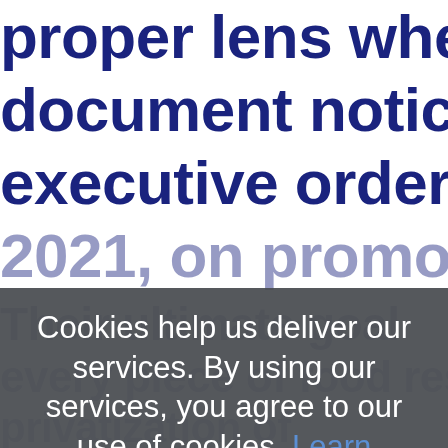proper lens when reviewing this document notice that derived from executive order signed by Biden 2021, on promoting competition i
Cookies help us deliver our services. By using our services, you agree to our use of cookies. Learn more
OK